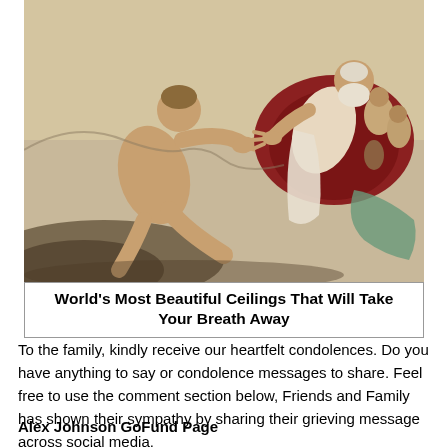[Figure (illustration): Michelangelo's Creation of Adam fresco from the Sistine Chapel ceiling, showing Adam on the left reaching toward God on the right, with attendant figures surrounding God]
World's Most Beautiful Ceilings That Will Take Your Breath Away
To the family, kindly receive our heartfelt condolences. Do you have anything to say or condolence messages to share. Feel free to use the comment section below, Friends and Family has shown their sympathy by sharing their grieving message across social media.
Alex Johnson GoFund Page